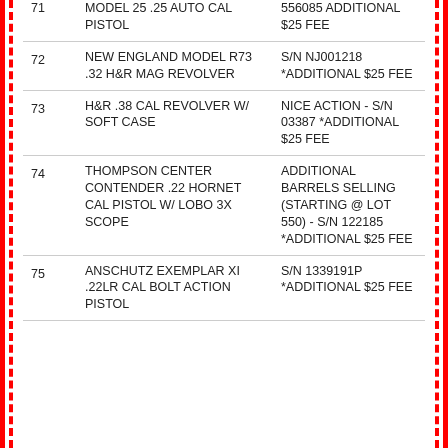| Lot | Description | Notes |
| --- | --- | --- |
| 71 | MODEL 25 .25 AUTO CAL PISTOL | 556085 ADDITIONAL $25 FEE |
| 72 | NEW ENGLAND MODEL R73 .32 H&R MAG REVOLVER | S/N NJ001218 *ADDITIONAL $25 FEE |
| 73 | H&R .38 CAL REVOLVER W/ SOFT CASE | NICE ACTION - S/N 03387 *ADDITIONAL $25 FEE |
| 74 | THOMPSON CENTER CONTENDER .22 HORNET CAL PISTOL W/ LOBO 3X SCOPE | ADDITIONAL BARRELS SELLING (STARTING @ LOT 550) - S/N 122185 *ADDITIONAL $25 FEE |
| 75 | ANSCHUTZ EXEMPLAR XI .22LR CAL BOLT ACTION PISTOL | S/N 1339191P *ADDITIONAL $25 FEE |